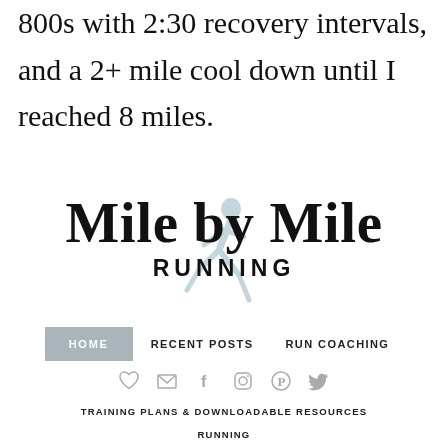800s with 2:30 recovery intervals, and a 2+ mile cool down until I reached 8 miles.
[Figure (logo): Mile by Mile Running blog logo with script text 'Mile by Mile' and bold uppercase 'RUNNING' below, with a runner silhouette icon in light blue-gray behind the text.]
HOME
RECENT POSTS
RUN COACHING
[Figure (illustration): Social media icons row: heart, email, facebook, instagram, pinterest, twitter]
TRAINING PLANS & DOWNLOADABLE RESOURCES
RUNNING